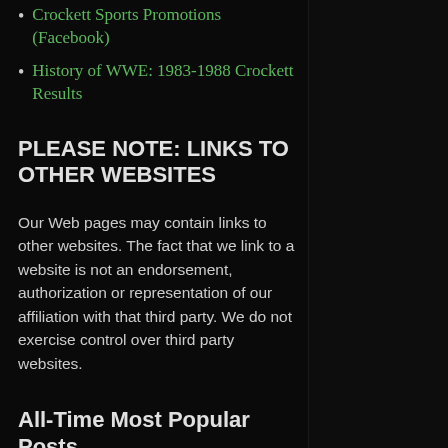Crockett Sports Promotions (Facebook)
History of WWE: 1983-1988 Crockett Results
PLEASE NOTE: LINKS TO OTHER WEBSITES
Our Web pages may contain links to other websites. The fact that we link to a website is not an endorsement, authorization or representation of our affiliation with that third party. We do not exercise control over third party websites.
All-Time Most Popular Posts
Paul Jones Passes Away
PAUL JONES by Dick Bourne Mid-Atlantic Gateway It is with real sadness that we learn of